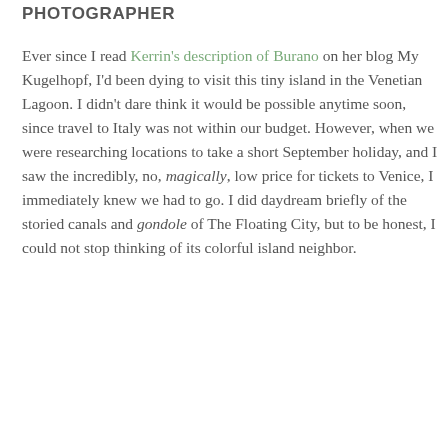PHOTOGRAPHER
Ever since I read Kerrin's description of Burano on her blog My Kugelhopf, I'd been dying to visit this tiny island in the Venetian Lagoon. I didn't dare think it would be possible anytime soon, since travel to Italy was not within our budget. However, when we were researching locations to take a short September holiday, and I saw the incredibly, no, magically, low price for tickets to Venice, I immediately knew we had to go. I did daydream briefly of the storied canals and gondole of The Floating City, but to be honest, I could not stop thinking of its colorful island neighbor.